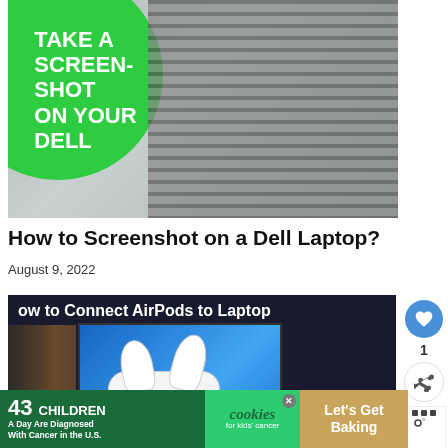[Figure (photo): Image showing a laptop keyboard with a green circle overlay text reading TAKE A SCREENSHOT ON YOUR DELL]
How to Screenshot on a Dell Laptop?
August 9, 2022
[Figure (photo): Image showing AirPods with case in front of a laptop displaying Windows 10 desktop, with text 'How to Connect AirPods to Laptop']
WHAT'S NEXT → How to Customize...
[Figure (photo): Advertisement banner: 43 CHILDREN A Day Are Diagnosed With Cancer in the U.S. | cookies for kids cancer | Let's Get Baking]